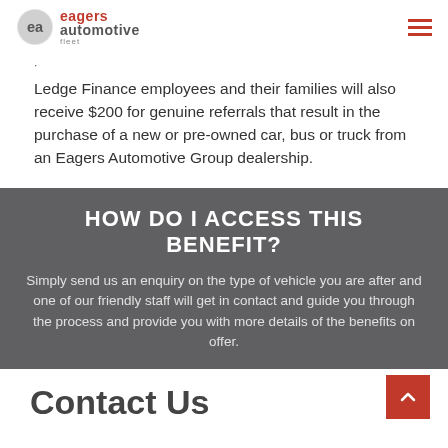eagers automotive fleet
Ledge Finance employees and their families will also receive $200 for genuine referrals that result in the purchase of a new or pre-owned car, bus or truck from an Eagers Automotive Group dealership.
HOW DO I ACCESS THIS BENEFIT?
Simply send us an enquiry on the type of vehicle you are after and one of our friendly staff will get in contact and guide you through the process and provide you with more details of the benefits on offer.
Contact Us